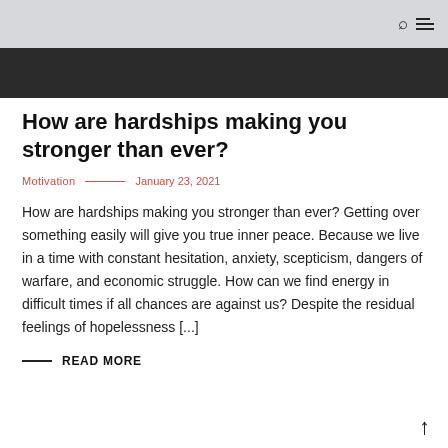[Figure (photo): Dark hero image strip at top of article page]
How are hardships making you stronger than ever?
Motivation — January 23, 2021
How are hardships making you stronger than ever? Getting over something easily will give you true inner peace. Because we live in a time with constant hesitation, anxiety, scepticism, dangers of warfare, and economic struggle. How can we find energy in difficult times if all chances are against us? Despite the residual feelings of hopelessness [...]
READ MORE